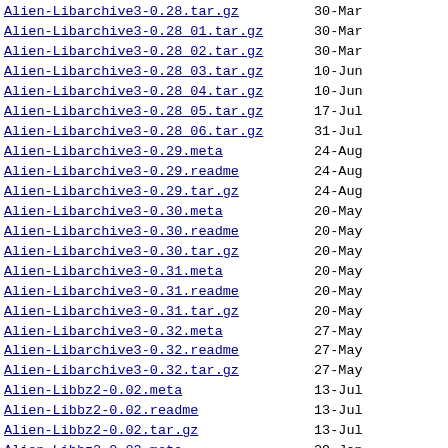Alien-Libarchive3-0.28.tar.gz   30-Mar
Alien-Libarchive3-0.28_01.tar.gz   30-Mar
Alien-Libarchive3-0.28_02.tar.gz   30-Mar
Alien-Libarchive3-0.28_03.tar.gz   10-Jun
Alien-Libarchive3-0.28_04.tar.gz   10-Jun
Alien-Libarchive3-0.28_05.tar.gz   17-Jul
Alien-Libarchive3-0.28_06.tar.gz   31-Jul
Alien-Libarchive3-0.29.meta   24-Aug
Alien-Libarchive3-0.29.readme   24-Aug
Alien-Libarchive3-0.29.tar.gz   24-Aug
Alien-Libarchive3-0.30.meta   20-May
Alien-Libarchive3-0.30.readme   20-May
Alien-Libarchive3-0.30.tar.gz   20-May
Alien-Libarchive3-0.31.meta   20-May
Alien-Libarchive3-0.31.readme   20-May
Alien-Libarchive3-0.31.tar.gz   20-May
Alien-Libarchive3-0.32.meta   27-May
Alien-Libarchive3-0.32.readme   27-May
Alien-Libarchive3-0.32.tar.gz   27-May
Alien-Libbz2-0.02.meta   13-Jul
Alien-Libbz2-0.02.readme   13-Jul
Alien-Libbz2-0.02.tar.gz   13-Jul
Alien-Libbz2-0.03.meta   29-Jan
Alien-Libbz2-0.03.readme   29-Jan
Alien-Libbz2-0.03.tar.gz   29-Jan
Alien-Libbz2-0.04.meta   18-Jan
Alien-Libbz2-0.04.readme   18-Jan
Alien-Libbz2-0.04.tar.gz   18-Jan
Alien-Libbz2-0.05.meta   26-Jan
Alien-Libbz2-0.05.readme   26-Jan